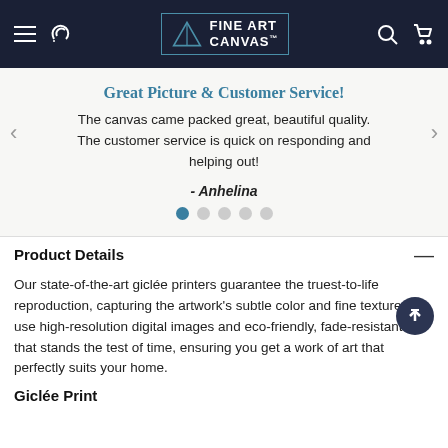[Figure (screenshot): Fine Art Canvas website header with hamburger menu, phone icon, logo with triangle graphic, brand name 'FINE ART CANVAS', search icon, and cart icon on dark navy background]
Great Picture & Customer Service!
The canvas came packed great, beautiful quality. The customer service is quick on responding and helping out!
- Anhelina
Product Details
Our state-of-the-art giclée printers guarantee the truest-to-life reproduction, capturing the artwork's subtle color and fine texture. We use high-resolution digital images and eco-friendly, fade-resistant ink that stands the test of time, ensuring you get a work of art that perfectly suits your home.
Giclée Print